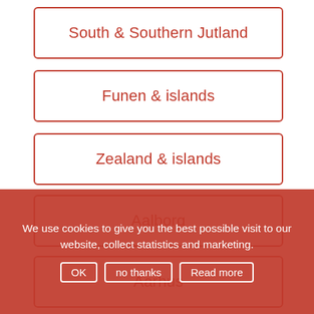South & Southern Jutland
Funen & islands
Zealand & islands
Aalborg
Aarhus
We use cookies to give you the best possible visit to our website, collect statistics and marketing.
OK  no thanks  Read more